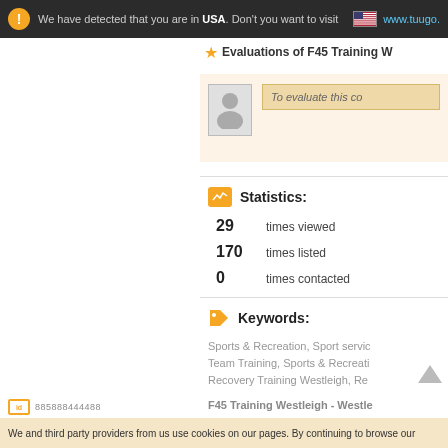We have detected that you are in USA. Don't you want to visit www.tuugo.
Evaluations of F45 Training W
[Figure (screenshot): User avatar silhouette placeholder image in gray box]
To evaluate this co
Statistics:
29   times viewed
170   times listed
0   times contacted
Keywords:
Sports & Recreation, Sport servic Team Training, Sports & Recreati Recovery Training Westleigh, Re
F45 Training Westleigh - Westle
id 885888444488
We and third party providers from us use cookies on our pages. By continuing to browse our